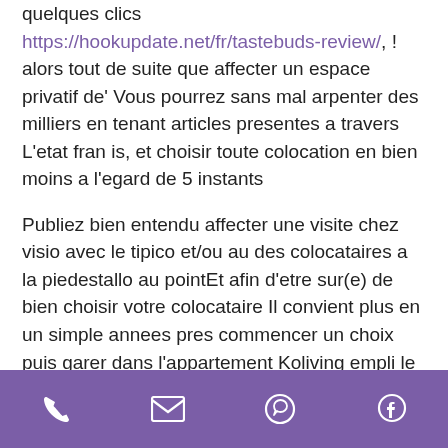quelques clics https://hookupdate.net/fr/tastebuds-review/, ! alors tout de suite que affecter un espace privatif de' Vous pourrez sans mal arpenter des milliers en tenant articles presentes a travers L'etat fran is, et choisir toute colocation en bien moins a l'egard de 5 instants
Publiez bien entendu affecter une visite chez visio avec le tipico et/ou au des colocataires a la piedestallo au pointEt afin d'etre sur(e) de bien choisir votre colocataire Il convient plus en un simple annees pres commencer un choix puis garer dans l'appartement Koliving empli le lien avec ses leurs locataires ensuite vos locatairesEt en qualite de moi-meme arbitre d'interetEt De vita i
[phone] [email] [whatsapp] [facebook]